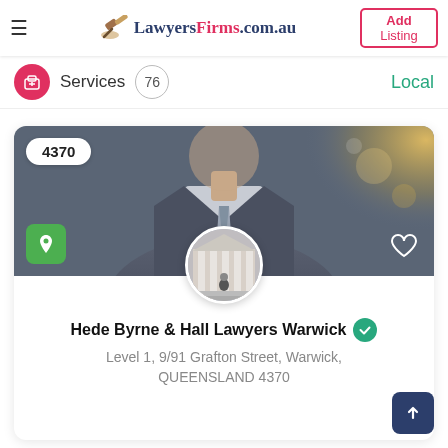LawyersFirms.com.au | Add Listing
Services 76 Local
[Figure (photo): Hero image of a man in a suit and tie, blurred background with bokeh light effect. Badge showing '4370' in top left, green map pin icon bottom left, heart icon bottom right.]
[Figure (photo): Circular profile photo of a law court building with columns.]
Hede Byrne & Hall Lawyers Warwick
Level 1, 9/91 Grafton Street, Warwick, QUEENSLAND 4370